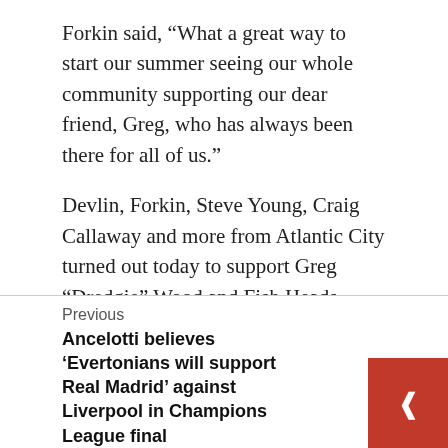Forkin said, “What a great way to start our summer seeing our whole community supporting our dear friend, Greg, who has always been there for all of us.”
Devlin, Forkin, Steve Young, Craig Callaway and more from Atlantic City turned out today to support Greg “Dredgie” Wood and Fish Heads.
Atlantic City’s Firsts Throughout History
steel pier
Previous
Ancelotti believes ‘Evertonians will support Real Madrid’ against Liverpool in Champions League final